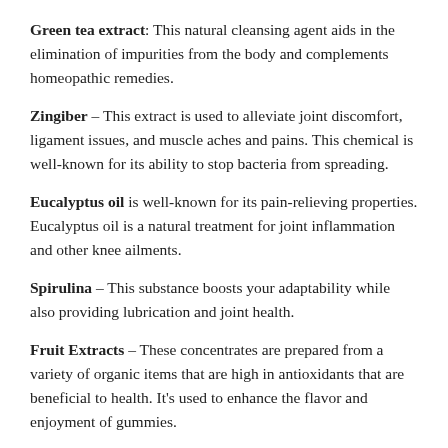Green tea extract: This natural cleansing agent aids in the elimination of impurities from the body and complements homeopathic remedies.
Zingiber – This extract is used to alleviate joint discomfort, ligament issues, and muscle aches and pains. This chemical is well-known for its ability to stop bacteria from spreading.
Eucalyptus oil is well-known for its pain-relieving properties. Eucalyptus oil is a natural treatment for joint inflammation and other knee ailments.
Spirulina – This substance boosts your adaptability while also providing lubrication and joint health.
Fruit Extracts – These concentrates are prepared from a variety of organic items that are high in antioxidants that are beneficial to health. It's used to enhance the flavor and enjoyment of gummies.
Benefits of Cannaleafz CBD Gummies Canada